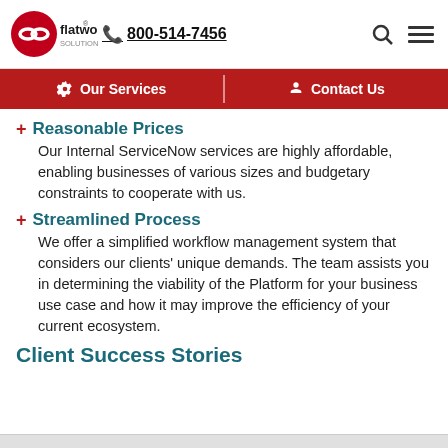flatworld solutions  800-514-7456
Our Services  |  Contact Us
Reasonable Prices – Our Internal ServiceNow services are highly affordable, enabling businesses of various sizes and budgetary constraints to cooperate with us.
Streamlined Process – We offer a simplified workflow management system that considers our clients' unique demands. The team assists you in determining the viability of the Platform for your business use case and how it may improve the efficiency of your current ecosystem.
Client Success Stories